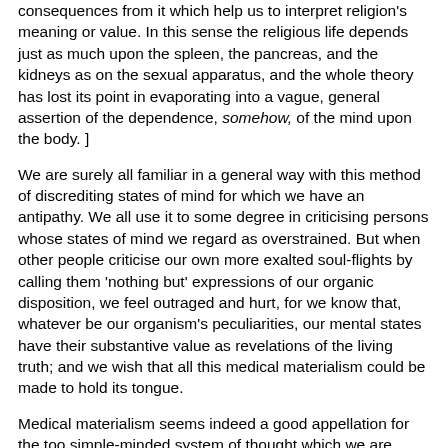consequences from it which help us to interpret religion's meaning or value. In this sense the religious life depends just as much upon the spleen, the pancreas, and the kidneys as on the sexual apparatus, and the whole theory has lost its point in evaporating into a vague, general assertion of the dependence, somehow, of the mind upon the body. ]
We are surely all familiar in a general way with this method of discrediting states of mind for which we have an antipathy. We all use it to some degree in criticising persons whose states of mind we regard as overstrained. But when other people criticise our own more exalted soul-flights by calling them 'nothing but' expressions of our organic disposition, we feel outraged and hurt, for we know that, whatever be our organism's peculiarities, our mental states have their substantive value as revelations of the living truth; and we wish that all this medical materialism could be made to hold its tongue.
Medical materialism seems indeed a good appellation for the too simple-minded system of thought which we are considering. Medical materialism finishes up Saint Paul by calling his vision on the road to Damascus a discharging lesion of the occipital cortex, he being an